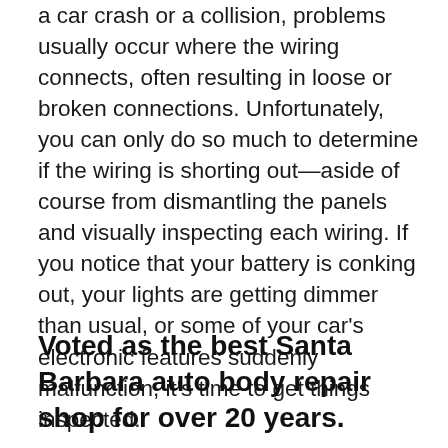a car crash or a collision, problems usually occur where the wiring connects, often resulting in loose or broken connections. Unfortunately, you can only do so much to determine if the wiring is shorting out—aside of course from dismantling the panels and visually inspecting each wiring. If you notice that your battery is conking out, your lights are getting dimmer than usual, or some of your car's electronic features suddenly malfunction, it's time to get things inspected.
Voted as the best Santa Barbara auto body repair shop for over 20 years.